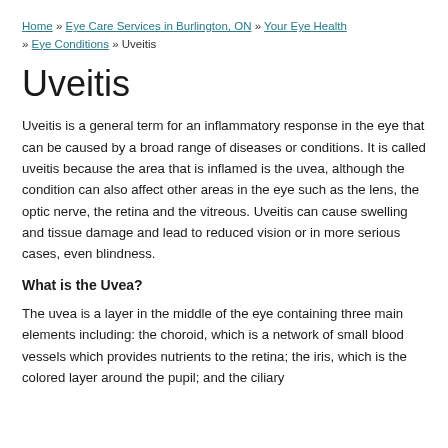Home » Eye Care Services in Burlington, ON » Your Eye Health » Eye Conditions » Uveitis
Uveitis
Uveitis is a general term for an inflammatory response in the eye that can be caused by a broad range of diseases or conditions. It is called uveitis because the area that is inflamed is the uvea, although the condition can also affect other areas in the eye such as the lens, the optic nerve, the retina and the vitreous. Uveitis can cause swelling and tissue damage and lead to reduced vision or in more serious cases, even blindness.
What is the Uvea?
The uvea is a layer in the middle of the eye containing three main elements including: the choroid, which is a network of small blood vessels which provides nutrients to the retina; the iris, which is the colored layer around the pupil; and the ciliary